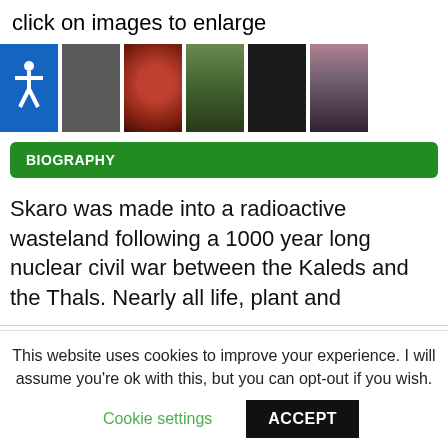click on images to enlarge
[Figure (photo): Row of thumbnail images including accessibility icon, dark landscape, reddish planet, green hillside, black square, and silhouette scene]
BIOGRAPHY
Skaro was made into a radioactive wasteland following a 1000 year long nuclear civil war between the Kaleds and the Thals. Nearly all life, plant and
This website uses cookies to improve your experience. I will assume you're ok with this, but you can opt-out if you wish.
Cookie settings  ACCEPT